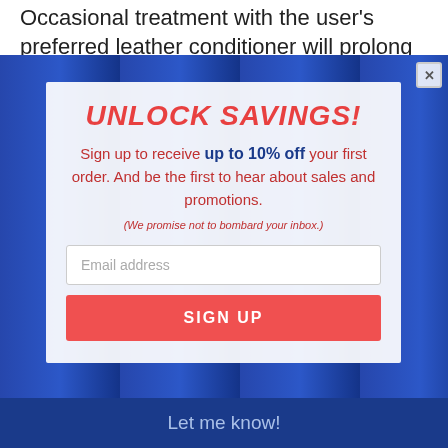Occasional treatment with the user's preferred leather conditioner will prolong the life of the
[Figure (screenshot): Background photo showing blue folders/documents on a desk with hands, partially obscured by a modal popup overlay]
UNLOCK SAVINGS!
Sign up to receive up to 10% off your first order. And be the first to hear about sales and promotions.
(We promise not to bombard your inbox.)
Email address
SIGN UP
Let me know!